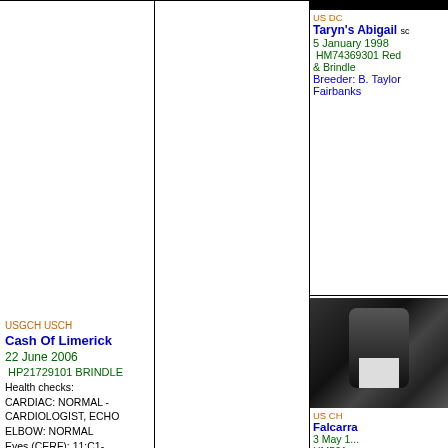US DC
Taryn's Abigail sc
5 January 1998
HM74369301 Red & Brindle
Breeder: B. Taylor Fairbanks
[Figure (photo): Black and white photo of a dog, possibly a greyhound or similar breed]
US CH
Falcarra...
3 May 1...
HM521...
Breeder: Koontz
USGCH USCH
Cash Of Limerick
22 June 2006
HP21729101 BRINDLE
Health checks:
CARDIAC: NORMAL - CARDIOLOGIST, ECHO
ELBOW: NORMAL
Eyes (CERF): 11:C1-
Corneal dystrophy